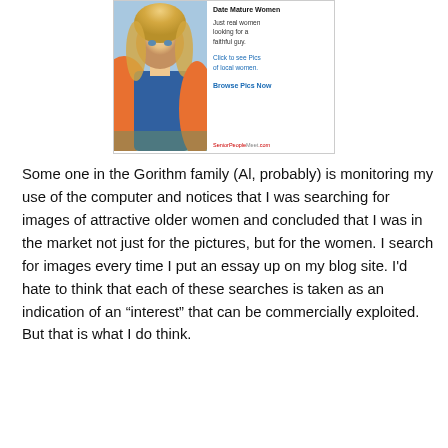[Figure (screenshot): Online dating advertisement from SeniorPeopleMeet.com showing a blonde woman in orange jacket and blue top. Ad text reads: 'Date Mature Women — Just real women looking for a faithful guy. Click to see Pics of local women. Browse Pics Now']
Some one in the Gorithm family (Al, probably) is monitoring my use of the computer and notices that I was searching for images of attractive older women and concluded that I was in the market not just for the pictures, but for the women. I search for images every time I put an essay up on my blog site. I'd hate to think that each of these searches is taken as an indication of an "interest" that can be commercially exploited. But that is what I do think.